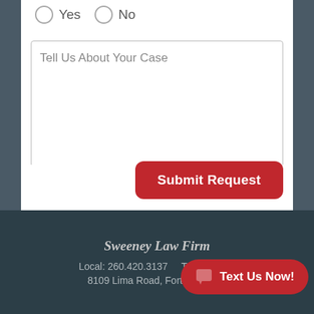Yes   No
Tell Us About Your Case
[Figure (screenshot): Submit Request button — red rounded rectangle with white bold text]
Sweeney Law Firm
Local: 260.420.3137    Toll Free: [obscured]
8109 Lima Road, Fort Wayne IN [obscured]
[Figure (infographic): Text Us Now! red pill-shaped chat button with speech bubble icon]